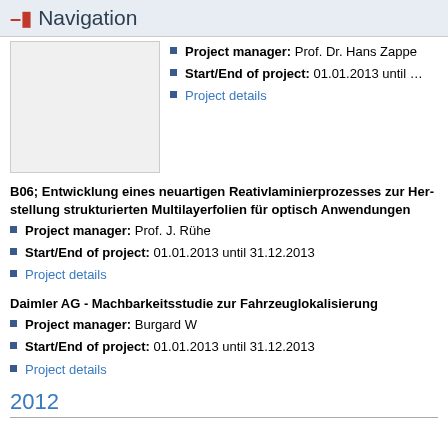Navigation
[Figure (illustration): Gray placeholder image box]
Project manager: Prof. Dr. Hans Zapp...
Start/End of project: 01.01.2013 until ...
Project details
B06; Entwicklung eines neuartigen Reativlaminierprozesses zur Her... strukturierten Multilayerfolien für optisch Anwendungen
Project manager: Prof. J. Rühe
Start/End of project: 01.01.2013 until 31.12.2013
Project details
Daimler AG - Machbarkeitsstudie zur Fahrzeuglokalisierung
Project manager: Burgard W
Start/End of project: 01.01.2013 until 31.12.2013
Project details
2012